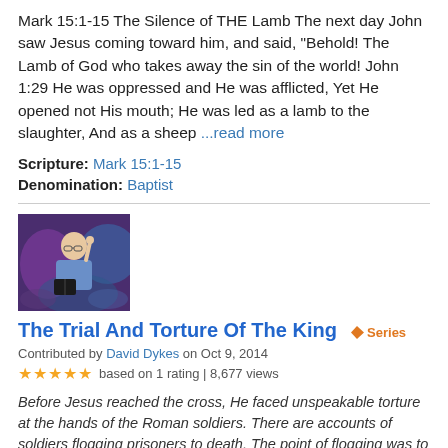Mark 15:1-15 The Silence of THE Lamb The next day John saw Jesus coming toward him, and said, "Behold! The Lamb of God who takes away the sin of the world! John 1:29 He was oppressed and He was afflicted, Yet He opened not His mouth; He was led as a lamb to the slaughter, And as a sheep …read more
Scripture: Mark 15:1-15
Denomination: Baptist
[Figure (photo): Photo of a man in a blue shirt holding a book and pointing upward with one finger, with a blurred colorful background.]
The Trial And Torture Of The King
Series
Contributed by David Dykes on Oct 9, 2014
★★★★★ based on 1 rating | 8,677 views
Before Jesus reached the cross, He faced unspeakable torture at the hands of the Roman soldiers. There are accounts of soldiers flogging prisoners to death. The point of flogging was to bring them close to